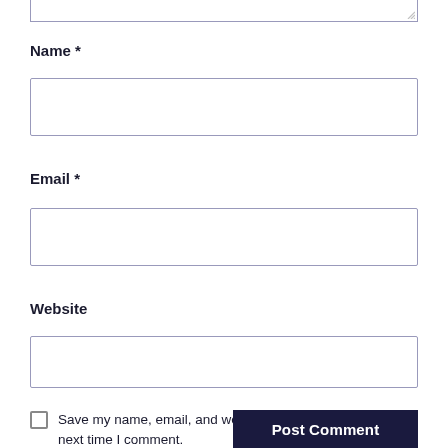[textarea top border visible]
Name *
[Figure (other): Empty text input box for Name field]
Email *
[Figure (other): Empty text input box for Email field]
Website
[Figure (other): Empty text input box for Website field]
Save my name, email, and website in this browser for the next time I comment.
Post Comment